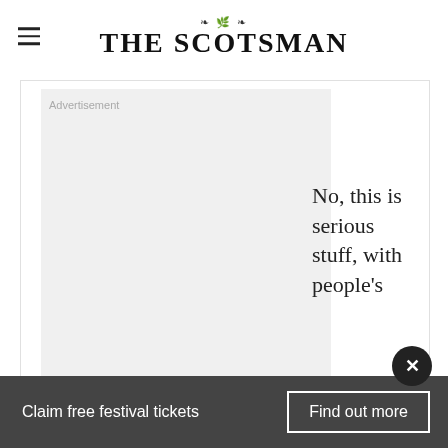THE SCOTSMAN
[Figure (other): Advertisement placeholder box with light gray background and 'Advertisement' label]
No, this is serious stuff, with people's
personal reputations – and even personal
Claim free festival tickets   Find out more